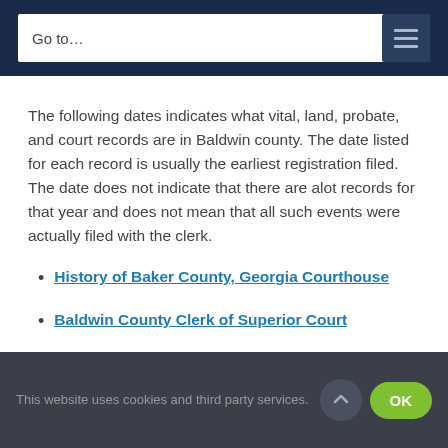Go to…
The following dates indicates what vital, land, probate, and court records are in Baldwin county. The date listed for each record is usually the earliest registration filed. The date does not indicate that there are alot records for that year and does not mean that all such events were actually filed with the clerk.
History of Baker County, Georgia Courthouse
Baldwin County Clerk of Superior Court
This website uses cookies and third party services.